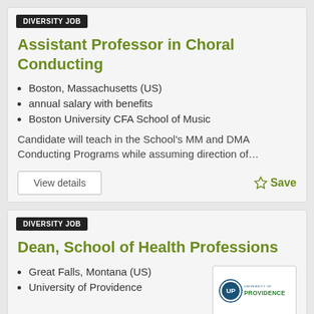DIVERSITY JOB
Assistant Professor in Choral Conducting
Boston, Massachusetts (US)
annual salary with benefits
Boston University CFA School of Music
Candidate will teach in the School’s MM and DMA Conducting Programs while assuming direction of…
View details
Save
DIVERSITY JOB
Dean, School of Health Professions
Great Falls, Montana (US)
University of Providence
[Figure (logo): University of Providence logo with circular UP emblem and text UNIVERSITY OF PROVIDENCE]